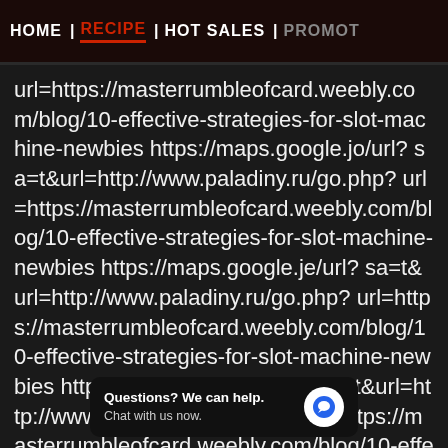HOME | RECIPE | HOT SALES | PROMOT
url=https://masterrumbleofcard.weebly.com/blog/10-effective-strategies-for-slot-machine-newbies https://maps.google.jo/url?sa=t&url=http://www.paladiny.ru/go.php?url=https://masterrumbleofcard.weebly.com/blog/10-effective-strategies-for-slot-machine-newbies https://maps.google.je/url?sa=t&url=http://www.paladiny.ru/go.php?url=https://masterrumbleofcard.weebly.com/blog/10-effective-strategies-for-slot-machine-newbies https://maps.google.it/url?sa=t&url=http://www.paladiny.ru/go.php?url=https://masterrumbleofcard.weebly.com/blog/10-effective-strategies-for-slot-machine-newbies https://maps.g... sa=t&url=http://www.paladiny.ru/go.php?
Questions? We can help. Chat with us now.